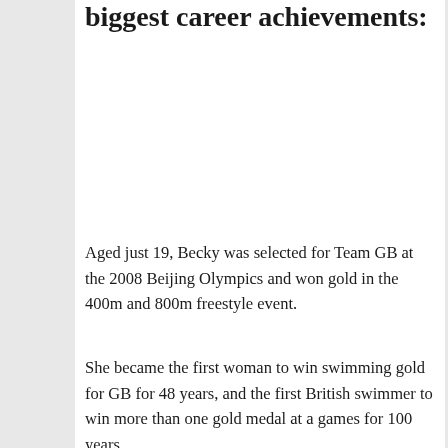biggest career achievements:
Aged just 19, Becky was selected for Team GB at the 2008 Beijing Olympics and won gold in the 400m and 800m freestyle event.
She became the first woman to win swimming gold for GB for 48 years, and the first British swimmer to win more than one gold medal at a games for 100 years.